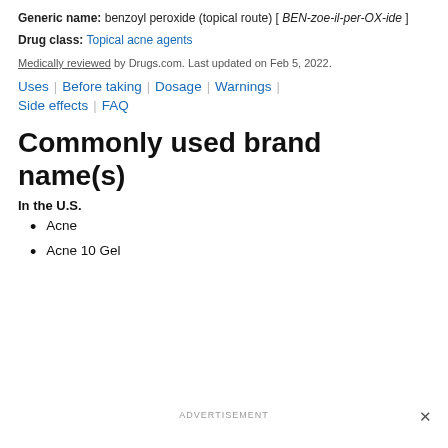Generic name: benzoyl peroxide (topical route) [ BEN-zoe-il-per-OX-ide ]
Drug class: Topical acne agents
Medically reviewed by Drugs.com. Last updated on Feb 5, 2022.
Uses | Before taking | Dosage | Warnings | Side effects | FAQ
Commonly used brand name(s)
In the U.S.
Acne
Acne 10 Gel
ADVERTISEMENT